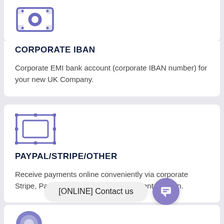[Figure (illustration): Blue/purple icon of a banknote with a circle in the center]
CORPORATE IBAN
Corporate EMI bank account (corporate IBAN number) for your new UK Company.
[Figure (illustration): Blue/purple icon of nested rectangles representing a payment interface]
PAYPAL/STRIPE/OTHER
Receive payments online conveniently via corporate Stripe, PayPal accounts or other payment solution.
[ONLINE] Contact us
[Figure (illustration): Partially visible blue/purple circular icon at the bottom of the page]